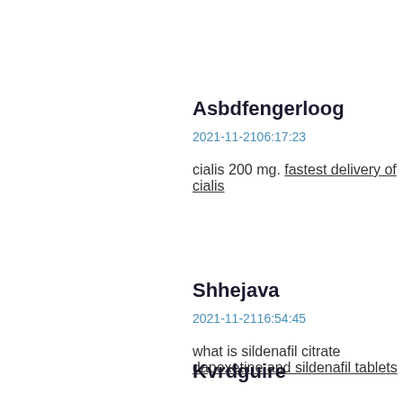Asbdfengerloog
2021-11-2106:17:23
cialis 200 mg. fastest delivery of cialis
Shhejava
2021-11-2116:54:45
what is sildenafil citrate dapoxetine and sildenafil tablets
Kvrdguire